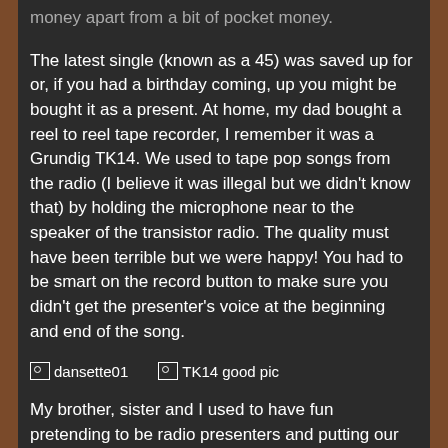money apart from a bit of pocket money.
The latest single (known as a 45) was saved up for or, if you had a birthday coming, up you might be bought it as a present. At home, my dad bought a reel to reel tape recorder, I remember it was a Grundig TK14. We used to tape pop songs from the radio (I believe it was illegal but we didn't know that) by holding the microphone near to the speaker of the transistor radio. The quality must have been terrible but we were happy! You had to be smart on the record button to make sure you didn't get the presenter's voice at the beginning and end of the song.
[Figure (other): Two broken image placeholders labeled 'dansette01' and 'TK14 good pic']
My brother, sister and I used to have fun pretending to be radio presenters and putting our own commentary on the tape in between songs.
I loved Honey magazine and used to read each issue